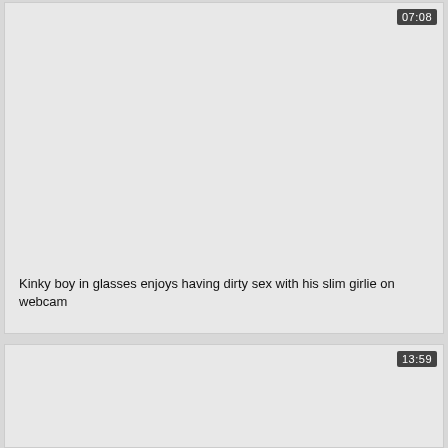[Figure (screenshot): Video thumbnail card with light gray background and duration badge showing 07:08 in top right corner]
Kinky boy in glasses enjoys having dirty sex with his slim girlie on webcam
[Figure (screenshot): Second video thumbnail card with light gray background and duration badge showing 13:59 in top right corner]